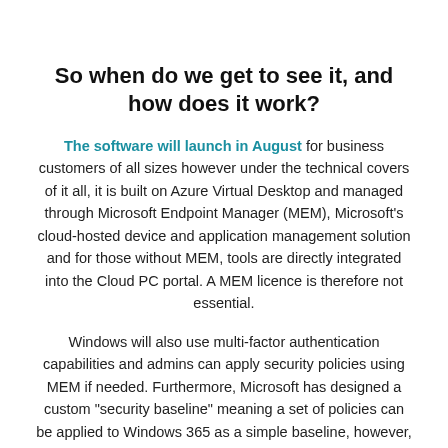So when do we get to see it, and how does it work?
The software will launch in August for business customers of all sizes however under the technical covers of it all, it is built on Azure Virtual Desktop and managed through Microsoft Endpoint Manager (MEM), Microsoft's cloud-hosted device and application management solution and for those without MEM, tools are directly integrated into the Cloud PC portal. A MEM licence is therefore not essential.
Windows will also use multi-factor authentication capabilities and admins can apply security policies using MEM if needed. Furthermore, Microsoft has designed a custom "security baseline" meaning a set of policies can be applied to Windows 365 as a simple baseline, however, you can modify this to fit